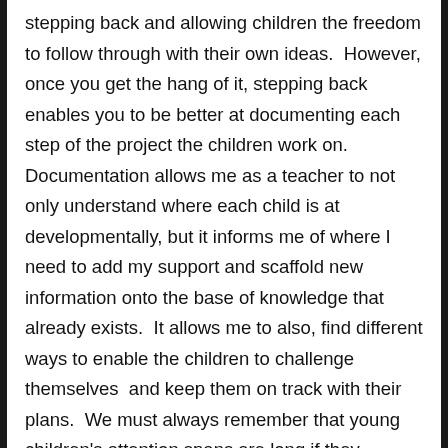stepping back and allowing children the freedom to follow through with their own ideas.  However, once you get the hang of it, stepping back enables you to be better at documenting each step of the project the children work on.  Documentation allows me as a teacher to not only understand where each child is at developmentally, but it informs me of where I need to add my support and scaffold new information onto the base of knowledge that already exists.  It allows me to also, find different ways to enable the children to challenge themselves  and keep them on track with their plans.  We must always remember that young children's attention spans are long if they possess a strong interest in what they are engaged in.  Younge children have shorter attention spans in general due to their minds still developing and the many detailed life experiences they are a part of every day.  As a